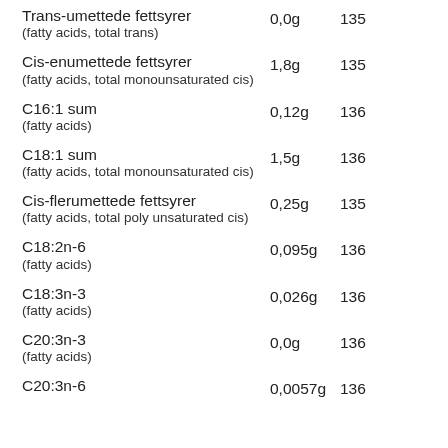Trans-umettede fettsyrer (fatty acids, total trans) | 0,0g | 135
Cis-enumettede fettsyrer (fatty acids, total monounsaturated cis) | 1,8g | 135
C16:1 sum (fatty acids) | 0,12g | 136
C18:1 sum (fatty acids, total monounsaturated cis) | 1,5g | 136
Cis-flerumettede fettsyrer (fatty acids, total poly unsaturated cis) | 0,25g | 135
C18:2n-6 (fatty acids) | 0,095g | 136
C18:3n-3 (fatty acids) | 0,026g | 136
C20:3n-3 (fatty acids) | 0,0g | 136
C20:3n-6 | 0,0057g | 136